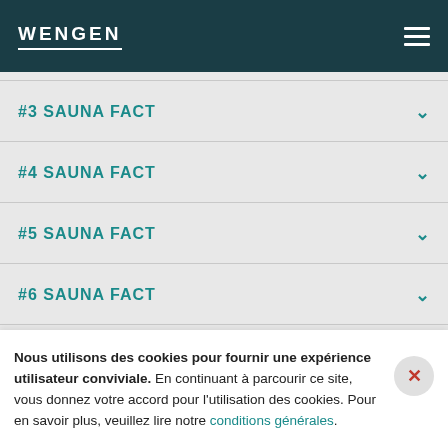WENGEN
#3 SAUNA FACT
#4 SAUNA FACT
#5 SAUNA FACT
#6 SAUNA FACT
Nous utilisons des cookies pour fournir une expérience utilisateur conviviale. En continuant à parcourir ce site, vous donnez votre accord pour l'utilisation des cookies. Pour en savoir plus, veuillez lire notre conditions générales.